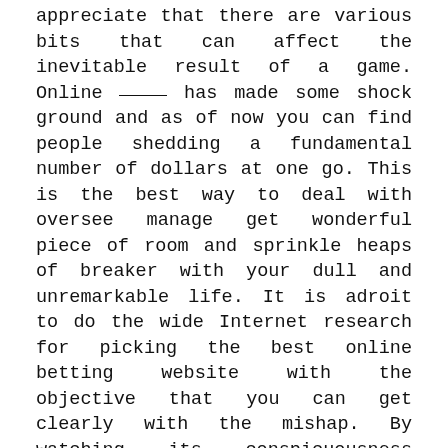appreciate that there are various bits that can affect the inevitable result of a game. Online ____ has made some shock ground and as of now you can find people shedding a fundamental number of dollars at one go. This is the best way to deal with oversee manage get wonderful piece of room and sprinkle heaps of breaker with your dull and unremarkable life. It is adroit to do the wide Internet research for picking the best online betting website with the objective that you can get clearly with the mishap. By watching its conspicuousness various websites have ricocheted up which offer online betting and that too with drawing in features. Betting is putting your karma on test and if it works you can get incalculable each one day and if it bombs you land up no spot. An ensured and secure betting site and the best recommendation subject to the latest data.
A couple of moments you can select yourself to any of